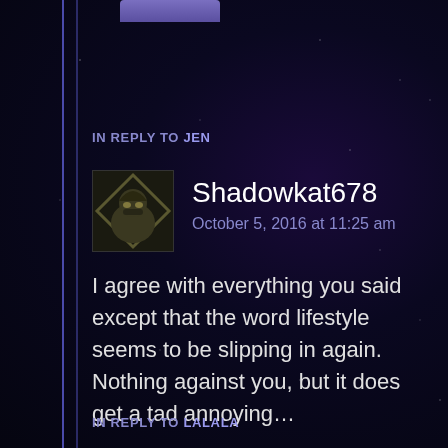[Figure (screenshot): Partial purple/blue button cropped at top of page]
IN REPLY TO JEN
[Figure (illustration): Square avatar with dark background showing a hooded figure/ninja icon in olive/gold color]
Shadowkat678
October 5, 2016 at 11:25 am
I agree with everything you said except that the word lifestyle seems to be slipping in again. Nothing against you, but it does get a tad annoying...
Reply
IN REPLY TO LALALA